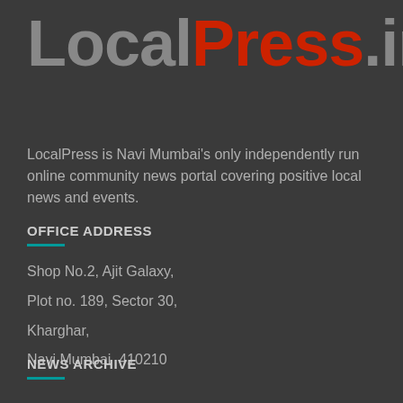LocalPress.in
LocalPress is Navi Mumbai's only independently run online community news portal covering positive local news and events.
OFFICE ADDRESS
Shop No.2, Ajit Galaxy,
Plot no. 189, Sector 30,
Kharghar,
Navi Mumbai  410210
NEWS ARCHIVE